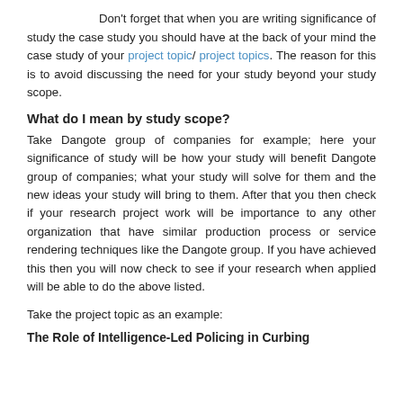supervisor/reader an insight on how well the study will be of benefit to them, immediate environment and people that makes up the study.
Don't forget that when you are writing significance of study the case study you should have at the back of your mind the case study of your project topic/ project topics. The reason for this is to avoid discussing the need for your study beyond your study scope.
What do I mean by study scope?
Take Dangote group of companies for example; here your significance of study will be how your study will benefit Dangote group of companies; what your study will solve for them and the new ideas your study will bring to them. After that you then check if your research project work will be importance to any other organization that have similar production process or service rendering techniques like the Dangote group. If you have achieved this then you will now check to see if your research when applied will be able to do the above listed.
Take the project topic as an example:
The Role of Intelligence-Led Policing in Curbing